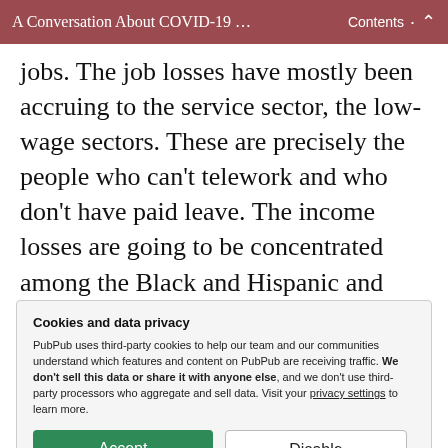A Conversation About COVID-19 … Contents ∧
jobs. The job losses have mostly been accruing to the service sector, the low-wage sectors. These are precisely the people who can't telework and who don't have paid leave. The income losses are going to be concentrated among the Black and Hispanic and low-to-lower-middle income families. Many of these families
Cookies and data privacy
PubPub uses third-party cookies to help our team and our communities understand which features and content on PubPub are receiving traffic. We don't sell this data or share it with anyone else, and we don't use third-party processors who aggregate and sell data. Visit your privacy settings to learn more.
[Accept] [Disable]
in terms of health outcomes. The most